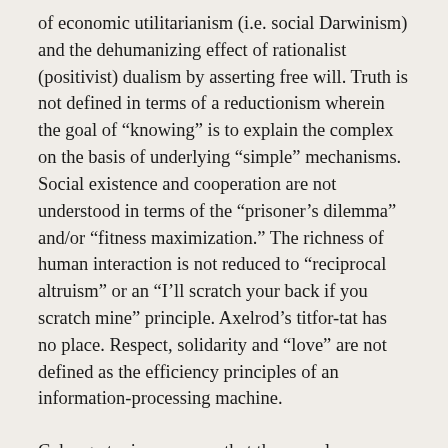of economic utilitarianism (i.e. social Darwinism) and the dehumanizing effect of rationalist (positivist) dualism by asserting free will. Truth is not defined in terms of a reductionism wherein the goal of “knowing” is to explain the complex on the basis of underlying “simple” mechanisms. Social existence and cooperation are not understood in terms of the “prisoner’s dilemma” and/or “fitness maximization.” The richness of human interaction is not reduced to “reciprocal altruism” or an “I’ll scratch your back if you scratch mine” principle. Axelrod’s titfor-tat has no place. Respect, solidarity and “love” are not defined as the efficiency principles of an information-processing machine.
Cyborg utopians assume that the complex interaction of individuals and contexts produces unexpected and dynamic results that will be interpreted differently by different persons. In the feedback loop of ICT—